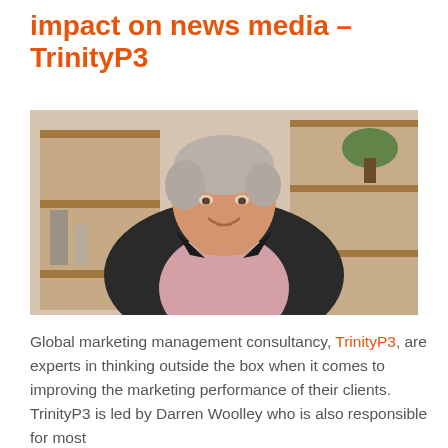impact on news media – TrinityP3
[Figure (photo): Portrait photo of an older man with silver-grey hair, wearing a dark blazer and pink shirt, smiling, in an office/café environment with wooden shelving in the background.]
Global marketing management consultancy, TrinityP3, are experts in thinking outside the box when it comes to improving the marketing performance of their clients. TrinityP3 is led by Darren Woolley who is also responsible for most